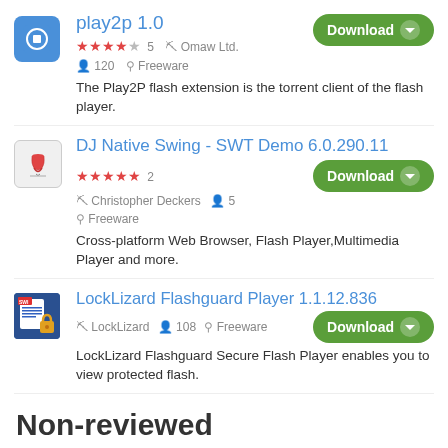play2p 1.0
★★★★☆ 5  🔧 Omaw Ltd.  👤 120  🏷 Freeware
The Play2P flash extension is the torrent client of the flash player.
DJ Native Swing - SWT Demo 6.0.290.11
★★★★★ 2  🔧 Christopher Deckers  👤 5  🏷 Freeware
Cross-platform Web Browser, Flash Player,Multimedia Player and more.
LockLizard Flashguard Player 1.1.12.836
🔧 LockLizard  👤 108  🏷 Freeware
LockLizard Flashguard Secure Flash Player enables you to view protected flash.
Non-reviewed